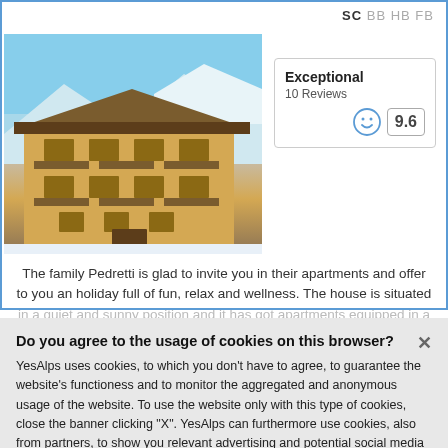SC BB HB FB
[Figure (photo): Exterior photo of a yellow alpine hotel/apartment building with wooden balconies and snow in the background, blue sky.]
Exceptional
10 Reviews
9.6
The family Pedretti is glad to invite you in their apartments and offer to you an holiday full of fun, relax and wellness. The house is situated in a quiet and sunny position and it has got apartments equipped in a
Do you agree to the usage of cookies on this browser?
YesAlps uses cookies, to which you don't have to agree, to guarantee the website's functioness and to monitor the aggregated and anonymous usage of the website. To use the website only with this type of cookies, close the banner clicking "X". YesAlps can furthermore use cookies, also from partners, to show you relevant advertising and potential social media content. By tapping "Agree" you express consent to the usage of all of these cookies and can adjust it by going to "Preferences". For more information, please read the Privacy Policy.
Preferences
Agree